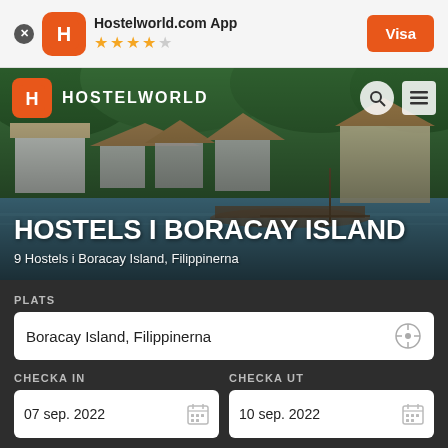Hostelworld.com App — Visa
[Figure (screenshot): Hostelworld website screenshot showing Hostels i Boracay Island page with hero image, navigation bar, search form with location field 'Boracay Island, Filippinerna', check-in date '07 sep. 2022' and check-out date '10 sep. 2022']
HOSTELS I BORACAY ISLAND
9 Hostels i Boracay Island, Filippinerna
PLATS
Boracay Island, Filippinerna
CHECKA IN
07 sep. 2022
CHECKA UT
10 sep. 2022